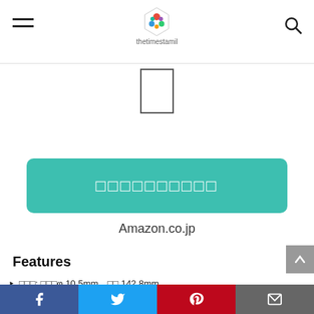thetimestamil logo header with hamburger menu and search icon
[Figure (illustration): Small rectangular product image placeholder (pen/pencil outline)]
[Figure (screenshot): Teal/green button with Japanese text (Amazon.co.jp purchase button)]
Amazon.co.jp
Features
サイズ: 軸径φ 10.5mm　全長 142.8mm
インク色: ブルーブラック
原産: 日本製
書き味: 細字 0.4mm
Social share bar: Facebook, Twitter, Pinterest, Email